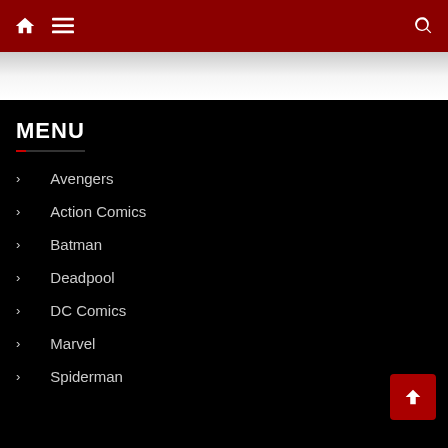Navigation bar with home, menu, and search icons
MENU
Avengers
Action Comics
Batman
Deadpool
DC Comics
Marvel
Spiderman